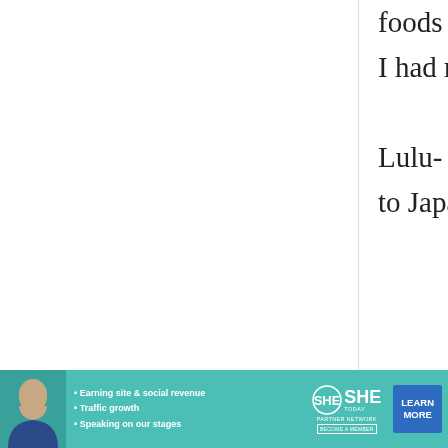foods in Japanese because I had read your blog.

Lulu- Australia (but back to Japan from May)
Catharina
2 December, 2008 - 12:17
permalink
Thanks
Hi,

I am Catharina from
[Figure (other): Advertisement banner for SHE TODAY Partner Network with a woman's photo, bullet points about Earning site & social revenue, Traffic growth, Speaking on our stages, and a Learn More button]